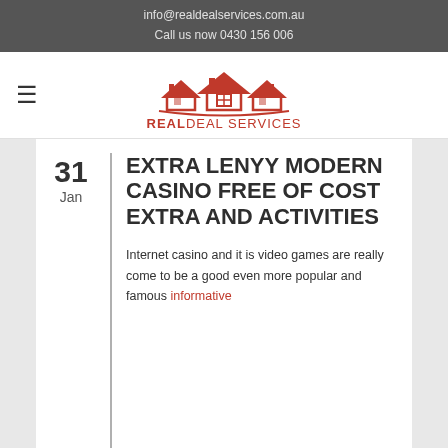info@realdealservices.com.au
Call us now 0430 156 006
[Figure (logo): Real Deal Services logo with three houses in red and company name REALDEAL SERVICES in red text]
31
Jan
EXTRA LENYY MODERN CASINO FREE OF COST EXTRA AND ACTIVITIES
Internet casino and it is video games are really come to be a good even more popular and famous informative